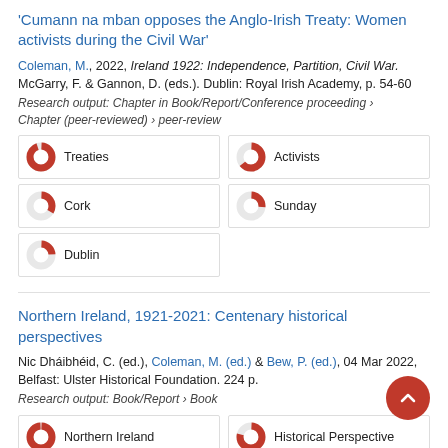'Cumann na mban opposes the Anglo-Irish Treaty: Women activists during the Civil War'
Coleman, M., 2022, Ireland 1922: Independence, Partition, Civil War. McGarry, F. & Gannon, D. (eds.). Dublin: Royal Irish Academy, p. 54-60
Research output: Chapter in Book/Report/Conference proceeding › Chapter (peer-reviewed) › peer-review
[Figure (donut-chart): Near-full donut chart in red, approximately 95%]
[Figure (donut-chart): About 65% donut chart in red]
[Figure (donut-chart): About 35% donut chart in red]
[Figure (donut-chart): About 25% donut chart in red]
[Figure (donut-chart): About 22% donut chart in red]
Northern Ireland, 1921-2021: Centenary historical perspectives
Nic Dháibhéid, C. (ed.), Coleman, M. (ed.) & Bew, P. (ed.), 04 Mar 2022, Belfast: Ulster Historical Foundation. 224 p.
Research output: Book/Report › Book
[Figure (donut-chart): Near-full donut chart in red, approximately 100%]
[Figure (donut-chart): About 80% donut chart in red]
[Figure (donut-chart): Partial donut chart]
[Figure (donut-chart): Partial donut chart]